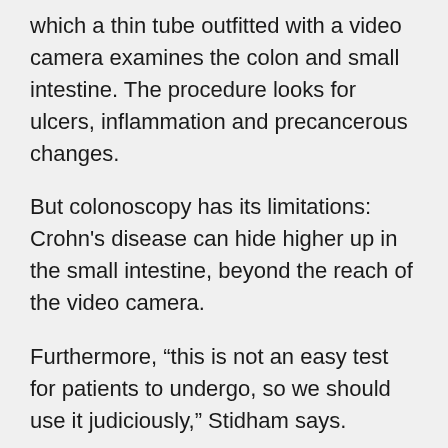which a thin tube outfitted with a video camera examines the colon and small intestine. The procedure looks for ulcers, inflammation and precancerous changes.
But colonoscopy has its limitations: Crohn's disease can hide higher up in the small intestine, beyond the reach of the video camera.
Furthermore, “this is not an easy test for patients to undergo, so we should use it judiciously,” Stidham says.
That’s why gastroenterologists are increasingly using complementary tests that add to the information provided by colonoscopy.
Among them: computed tomography and magnetic resonance enterography. Unlike colonoscopies, these tests can examine all the